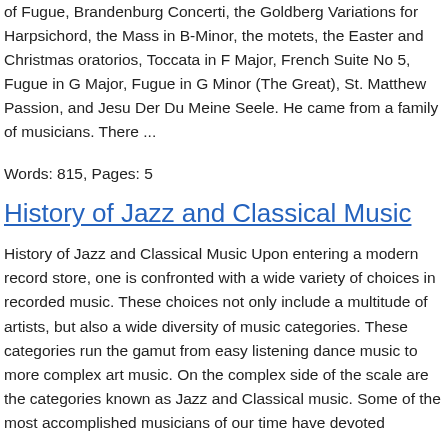of Fugue, Brandenburg Concerti, the Goldberg Variations for Harpsichord, the Mass in B-Minor, the motets, the Easter and Christmas oratorios, Toccata in F Major, French Suite No 5, Fugue in G Major, Fugue in G Minor (The Great), St. Matthew Passion, and Jesu Der Du Meine Seele. He came from a family of musicians. There ...
Words: 815, Pages: 5
History of Jazz and Classical Music
History of Jazz and Classical Music Upon entering a modern record store, one is confronted with a wide variety of choices in recorded music. These choices not only include a multitude of artists, but also a wide diversity of music categories. These categories run the gamut from easy listening dance music to more complex art music. On the complex side of the scale are the categories known as Jazz and Classical music. Some of the most accomplished musicians of our time have devoted